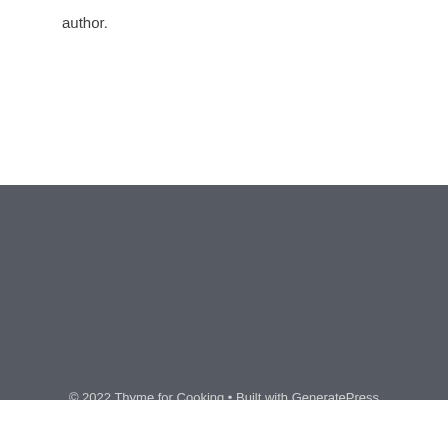author.
© 2022 Thyme for Cooking • Built with GeneratePress
ezoic   report this ad